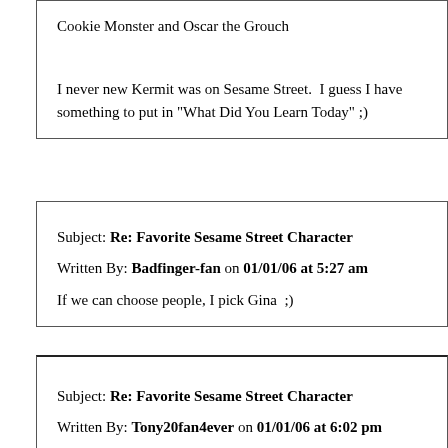Cookie Monster and Oscar the Grouch
I never new Kermit was on Sesame Street.  I guess I have something to put in "What Did You Learn Today" ;)
Subject: Re: Favorite Sesame Street Character
Written By: Badfinger-fan on 01/01/06 at 5:27 am
If we can choose people, I pick Gina  ;)
Subject: Re: Favorite Sesame Street Character
Written By: Tony20fan4ever on 01/01/06 at 6:02 pm